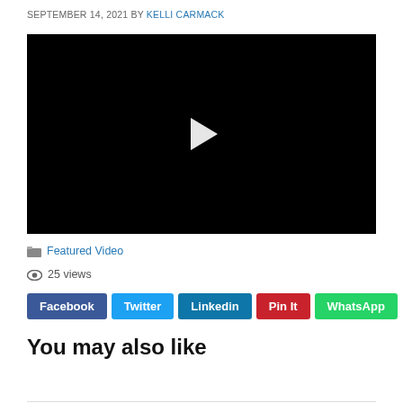SEPTEMBER 14, 2021 BY KELLI CARMACK
[Figure (other): Black video player with white play button triangle in the center]
Featured Video
25 views
Facebook  Twitter  Linkedin  Pin It  WhatsApp
You may also like